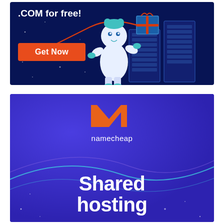[Figure (illustration): Dark blue advertisement banner showing '.COM for free!' text, an orange 'Get Now' button, a white yeti monster character holding red ribbon, server rack computers wrapped as a gift, and small star dots on a dark navy background.]
[Figure (illustration): Purple/indigo advertisement banner for Namecheap showing the orange Namecheap 'N' logo mark, 'namecheap' wordmark in white, curved teal/cyan decorative lines across the banner, small white star dots, and large bold white text reading 'Shared hosting' at the bottom.]